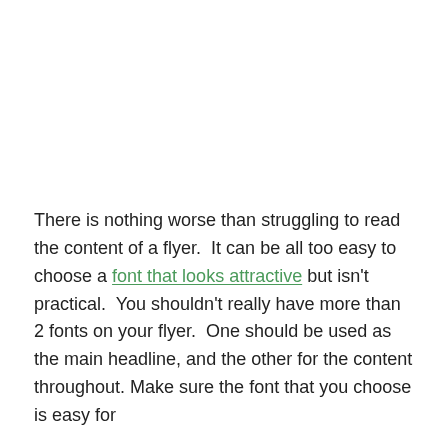There is nothing worse than struggling to read the content of a flyer.  It can be all too easy to choose a font that looks attractive but isn't practical.  You shouldn't really have more than 2 fonts on your flyer.  One should be used as the main headline, and the other for the content throughout. Make sure the font that you choose is easy for